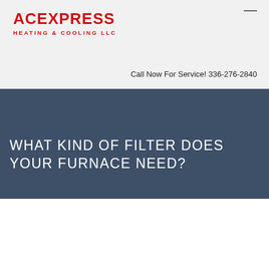[Figure (logo): AC Express Heating & Cooling LLC logo in red text]
Call Now For Service! 336-276-2840
WHAT KIND OF FILTER DOES YOUR FURNACE NEED?